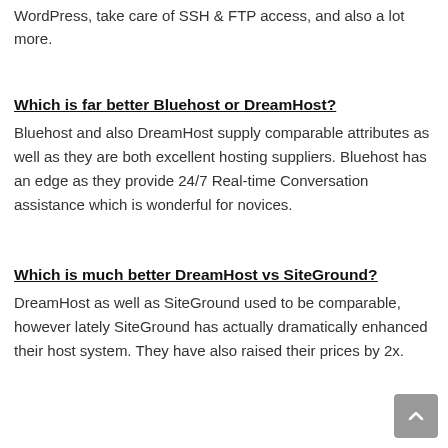WordPress, take care of SSH & FTP access, and also a lot more.
Which is far better Bluehost or DreamHost?
Bluehost and also DreamHost supply comparable attributes as well as they are both excellent hosting suppliers. Bluehost has an edge as they provide 24/7 Real-time Conversation assistance which is wonderful for novices.
Which is much better DreamHost vs SiteGround?
DreamHost as well as SiteGround used to be comparable, however lately SiteGround has actually dramatically enhanced their host system. They have also raised their prices by 2x.